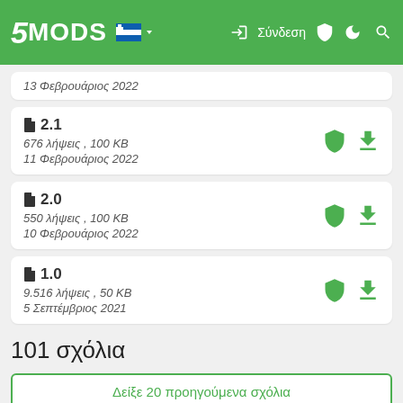5MODS — Σύνδεση
13 Φεβρουάριος 2022
2.1 — 676 λήψεις , 100 KB — 11 Φεβρουάριος 2022
2.0 — 550 λήψεις , 100 KB — 10 Φεβρουάριος 2022
1.0 — 9.516 λήψεις , 50 KB — 5 Σεπτέμβριος 2021
101 σχόλια
Δείξε 20 προηγούμενα σχόλια